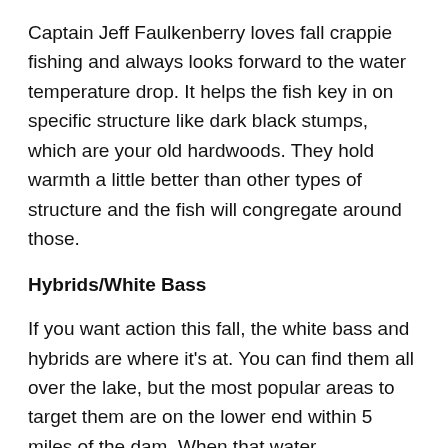Captain Jeff Faulkenberry loves fall crappie fishing and always looks forward to the water temperature drop. It helps the fish key in on specific structure like dark black stumps, which are your old hardwoods. They hold warmth a little better than other types of structure and the fish will congregate around those.
Hybrids/White Bass
If you want action this fall, the white bass and hybrids are where it's at. You can find them all over the lake, but the most popular areas to target them are on the lower end within 5 miles of the dam. When that water temperature reaches 70 degrees, it will be like a light switch.
You're going to want to look for any windy ban